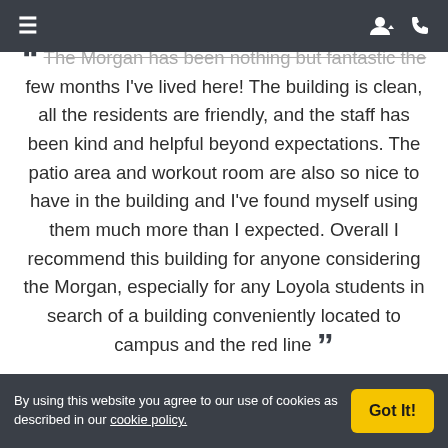Navigation bar with hamburger menu, user icon, and phone icon
" The Morgan has been nothing but fantastic the few months I've lived here! The building is clean, all the residents are friendly, and the staff has been kind and helpful beyond expectations. The patio area and workout room are also so nice to have in the building and I've found myself using them much more than I expected. Overall I recommend this building for anyone considering the Morgan, especially for any Loyola students in search of a building conveniently located to campus and the red line "
[Figure (illustration): Blue circular avatar icon at bottom left]
By using this website you agree to our use of cookies as described in our cookie policy. Got It!